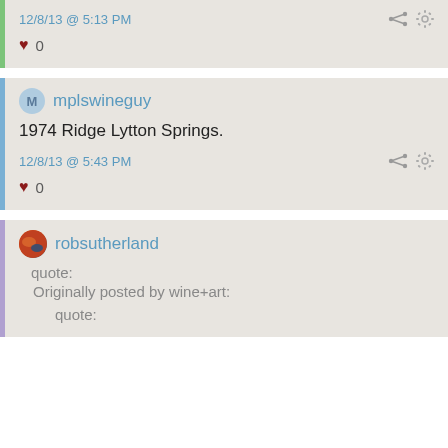12/8/13 @ 5:13 PM
♥ 0
mplswineguy
1974 Ridge Lytton Springs.
12/8/13 @ 5:43 PM
♥ 0
robsutherland
quote:
Originally posted by wine+art:

quote: